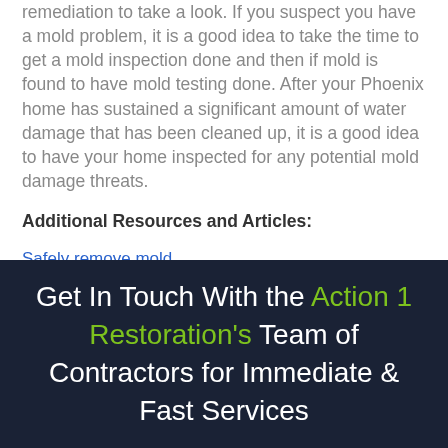remediation to take a look. If you suspect you have a mold problem, it is a good idea to take the time to get a mold inspection done and then if mold is found to have mold testing done. After your Phoenix home has sustained a significant amount of water damage that has been cleaned up, it is a good idea to have your home inspected for any potential mold damage threats.
Additional Resources and Articles:
Safely remove mold
Biohazard damage restoration
Get In Touch With the Action 1 Restoration's Team of Contractors for Immediate & Fast Services